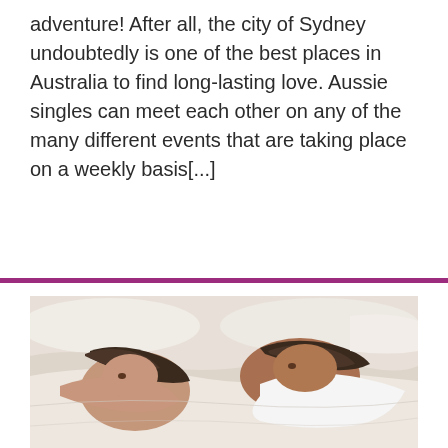adventure! After all, the city of Sydney undoubtedly is one of the best places in Australia to find long-lasting love. Aussie singles can meet each other on any of the many different events that are taking place on a weekly basis[...]
[Figure (photo): A couple lying in bed back-to-back, facing away from each other, covered by white sheets and pillows. The woman is on the left with dark hair, and the man is on the right with dark hair, both appearing pensive or upset.]